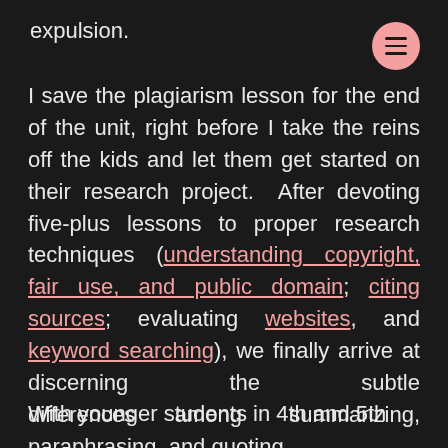expulsion.
I save the plagiarism lesson for the end of the unit, right before I take the reins off the kids and let them get started on their research project. After devoting five-plus lessons to proper research techniques (understanding copyright, fair use, and public domain; citing sources; evaluating websites, and keyword searching), we finally arrive at discerning the subtle differences among summarizing, paraphrasing, and quoting.
With younger students in 4th and 5th